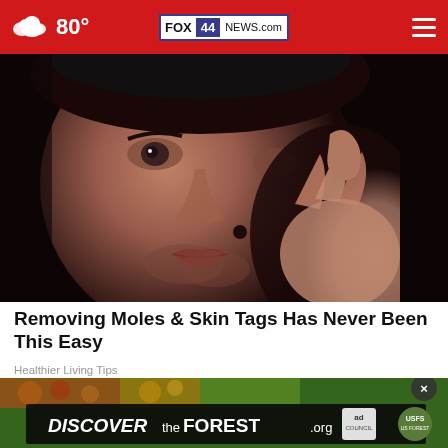80° FOX 44 NEWS.com
[Figure (photo): Close-up photo of a young man touching a mole on his face against a dark background]
Removing Moles & Skin Tags Has Never Been This Easy
Healthier Living Tips
[Figure (screenshot): Advertisement banner for DiscovertheForest.org with colorful flowers and forest imagery, ad council and US Forest Service logos]